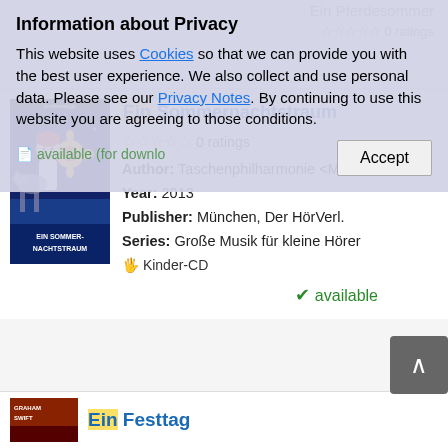Information about Privacy
This website uses Cookies so that we can provide you with the best user experience. We also collect and use personal data. Please see our Privacy Notes. By continuing to use this website you are agreeing to those conditions.
available (for download)
Ein Sommernachtstraum
0 ratings
Author: Taschenphilharmonie <München>
Year: 2013
Publisher: München, Der HörVerl.
Series: Große Musik für kleine Hörer
Kinder-CD
available
Ein Festtag